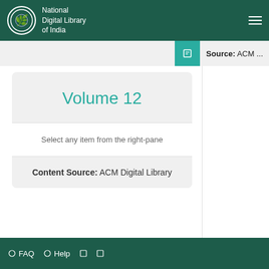National Digital Library of India
Source: ACM ...
Volume 12
Select any item from the right-pane
Content Source: ACM Digital Library
FAQ  Help